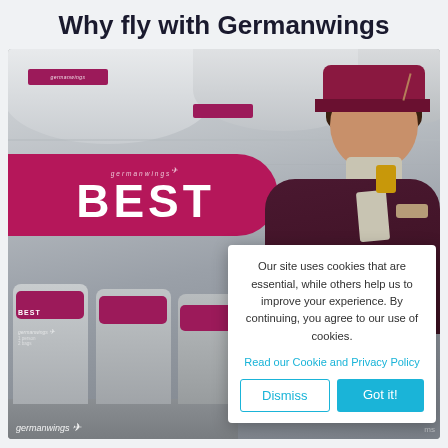Why fly with Germanwings
[Figure (photo): Germanwings airline interior with overhead bins showing BEST brand signage and a smiling flight attendant in dark maroon uniform with matching hat, plus lower portion showing gray passenger seats with pink headrests and germanwings logo]
Our site uses cookies that are essential, while others help us to improve your experience. By continuing, you agree to our use of cookies.
Read our Cookie and Privacy Policy
Dismiss
Got it!